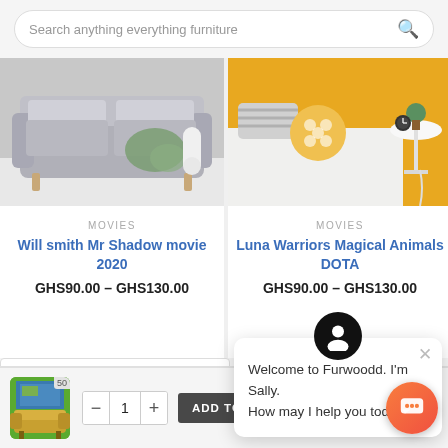Search anything everything furniture
[Figure (photo): Gray sofa with green throw blanket on light wooden floor]
[Figure (photo): Bedroom with yellow walls, striped pillows, yellow round pillow, small white side table with plant and clock]
MOVIES
Will smith Mr Shadow movie 2020
GHS90.00 – GHS130.00
MOVIES
Luna Warriors Magical Animals DOTA
GHS90.00 – GHS130.00
Welcome to Furwoodd. I'm Sally. How may I help you today?
Enter your Email for Disco